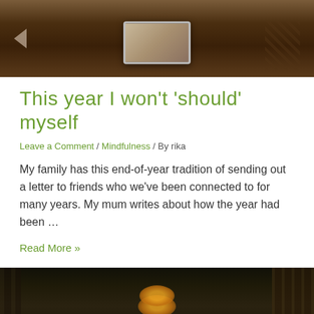[Figure (photo): Top portion of an article image showing a dark brown metallic surface with a rectangular plate/plaque and lattice pattern on the right]
This year I won't 'should' myself
Leave a Comment / Mindfulness / By rika
My family has this end-of-year tradition of sending out a letter to friends who we've been connected to for many years. My mum writes about how the year had been …
Read More »
[Figure (photo): Bottom portion of next article image showing a dark animal (likely a cat) with glowing eyes and stick-like background elements]